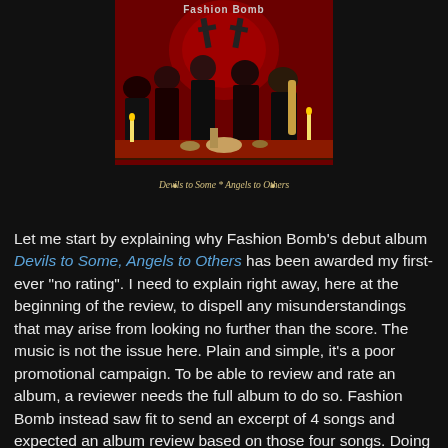[Figure (photo): Album cover for Fashion Bomb's 'Devils to Some, Angels to Others' showing band members in dark gothic attire seated at a table with candles, on a red background with crosses. Text at top reads 'Fashion Bomb' and bottom reads 'Devils to Some * Angels to Others'.]
Let me start by explaining why Fashion Bomb's debut album Devils to Some, Angels to Others has been awarded my first-ever "no rating". I need to explain right away, here at the beginning of the review, to dispell any misunderstandings that may arise from looking no further than the score. The music is not the issue here. Plain and simple, it's a poor promotional campaign. To be able to review and rate an album, a reviewer needs the full album to do so. Fashion Bomb instead saw fit to send an excerpt of 4 songs and expected an album review based on those four songs. Doing so would be akin to writing a book review after reading only the first and last chapters, or reviewing a movie after seeing only the trailer. An album review based upon less than 30%